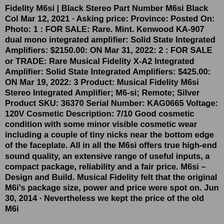Fidelity M6si | Black Stereo Part Number M6si Black Col Mar 12, 2021 · Asking price: Province: Posted On: Photo: 1 : FOR SALE: Rare. Mint. Kenwood KA-907 dual mono integrated amplifier: Solid State Integrated Amplifiers: $2150.00: ON Mar 31, 2022: 2 : FOR SALE or TRADE: Rare Musical Fidelity X-A2 Integrated Amplifier: Solid State Integrated Amplifiers: $425.00: ON Mar 19, 2022: 3 Product: Musical Fidelity M6si Stereo Integrated Amplifier; M6-si; Remote; Silver Product SKU: 36370 Serial Number: KAG0665 Voltage: 120V Cosmetic Description: 7/10 Good cosmetic condition with some minor visible cosmetic wear including a couple of tiny nicks near the bottom edge of the faceplate. All in all the M6si offers true high-end sound quality, an extensive range of useful inputs, a compact package, reliability and a fair price. M6si – Design and Build. Musical Fidelity felt that the original M6i's package size, power and price were spot on. Jun 30, 2014 · Nevertheless we kept the price of the old M6i